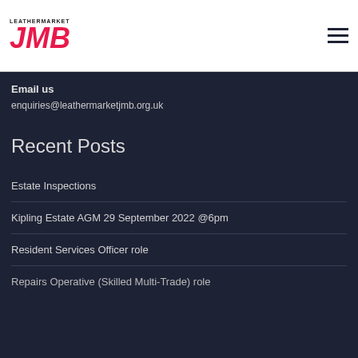LEATHERMARKET JMB
Email us
enquiries@leathermarketjmb.org.uk
Recent Posts
Estate Inspections
Kipling Estate AGM 29 September 2022 @6pm
Resident Services Officer role
Repairs Operative (Skilled Multi-Trade) role